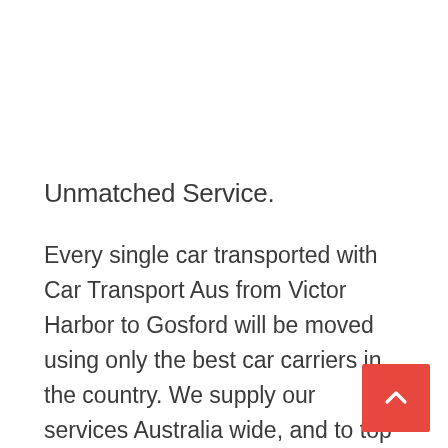Unmatched Service.
Every single car transported with Car Transport Aus from Victor Harbor to Gosford will be moved using only the best car carriers in the country. We supply our services Australia wide, and to top everything we have been in the transportation industry for over 25 years now. So who better get the job done for you.